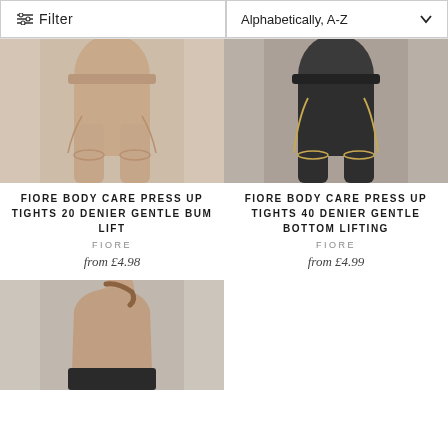Filter
Alphabetically, A-Z
[Figure (photo): Back view of woman wearing nude/beige body shaper tights with decorative straps]
FIORE BODY CARE PRESS UP TIGHTS 20 DENIER GENTLE BUM LIFT
FIORE
from £4.98
[Figure (photo): Back view of woman wearing black body shaper tights with gold decorative stitching]
FIORE BODY CARE PRESS UP TIGHTS 40 DENIER GENTLE BOTTOM LIFTING
FIORE
from £4.99
[Figure (photo): Back view of woman with bare back showing black waistband at bottom]